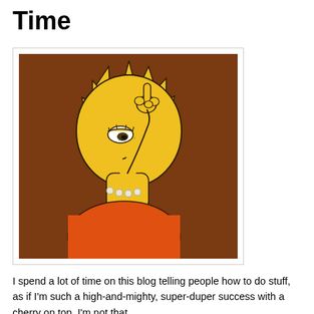Time
[Figure (illustration): Cartoon illustration of Lisa Simpson from The Simpsons, shown in profile/three-quarter view with a skeptical or bored expression, pointing one finger upward. She has her characteristic yellow skin, star-shaped hair, white pearl necklace, and orange dress. Brown background.]
I spend a lot of time on this blog telling people how to do stuff, as if I'm such a high-and-mighty, super-duper success with a cherry on top. I'm not that.